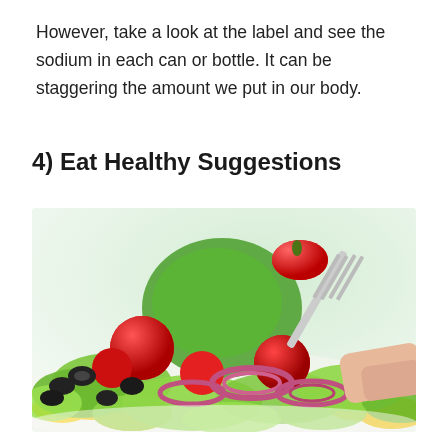However, take a look at the label and see the sodium in each can or bottle. It can be staggering the amount we put in our body.
4) Eat Healthy Suggestions
[Figure (photo): Close-up photo of a fresh colorful salad with cherry tomatoes, green lettuce, red onion rings, black olives, yellow bell pepper, and a hand holding a fork picking up a cherry tomato.]